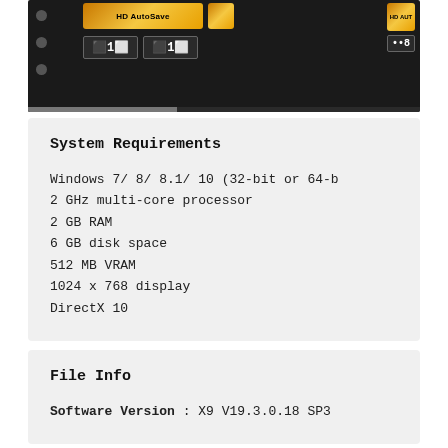[Figure (screenshot): Dark-themed video editing software interface showing HD AutoSave buttons, counter displays showing '1' and '1', and an HD AUTO panel on the right showing '8'. Progress bar at the bottom.]
System Requirements
Windows 7/ 8/ 8.1/ 10 (32-bit or 64-b
2 GHz multi-core processor
2 GB RAM
6 GB disk space
512 MB VRAM
1024 x 768 display
DirectX 10
File Info
Software Version : X9 V19.3.0.18 SP3